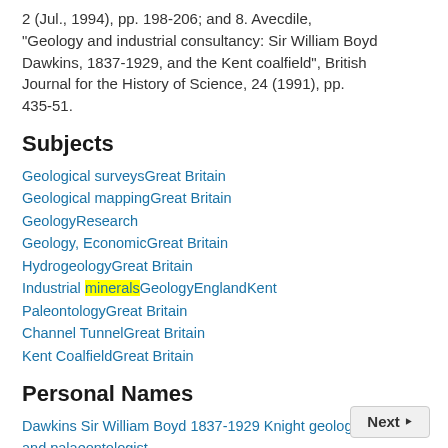2 (Jul., 1994), pp. 198-206; and 8. Avecdile, "Geology and industrial consultancy: Sir William Boyd Dawkins, 1837-1929, and the Kent coalfield", British Journal for the History of Science, 24 (1991), pp. 435-51.
Subjects
Geological surveysGreat Britain
Geological mappingGreat Britain
GeologyResearch
Geology, EconomicGreat Britain
HydrogeologyGreat Britain
Industrial mineralsGeologyEnglandKent
PaleontologyGreat Britain
Channel TunnelGreat Britain
Kent CoalfieldGreat Britain
Personal Names
Dawkins Sir William Boyd 1837-1929 Knight geologist and palaeontologist
Whitaker William 1836-1925 geologist